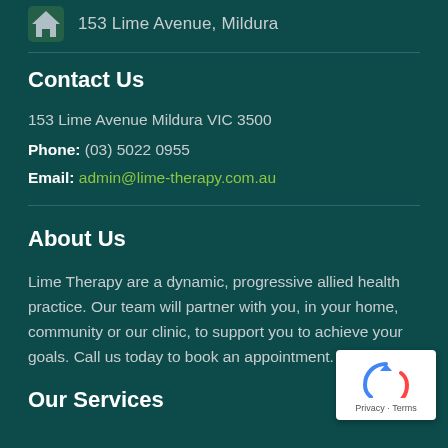153 Lime Avenue, Mildura
Contact Us
153 Lime Avenue Mildura VIC 3500
Phone: (03) 5022 0955
Email: admin@lime-therapy.com.au
About Us
Lime Therapy are a dynamic, progressive allied health practice. Our team will partner with you, in your home, community or our clinic, to support you to achieve your goals. Call us today to book an appointment.
Our Services